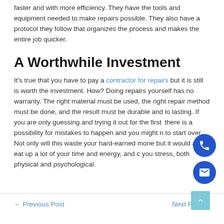faster and with more efficiency. They have the tools and equipment needed to make repairs possible. They also have a protocol they follow that organizes the process and makes the entire job quicker.
A Worthwhile Investment
It's true that you have to pay a contractor for repairs but it is still is worth the investment. How? Doing repairs yourself has no warranty. The right material must be used, the right repair method must be done, and the result must be durable and long lasting. If you are only guessing and trying it out for the first time, there is a possibility for mistakes to happen and you might need to start over. Not only will this waste your hard-earned money, but it would also eat up a lot of your time and energy, and cause you stress, both physical and psychological.
← Previous Post    Next Post →